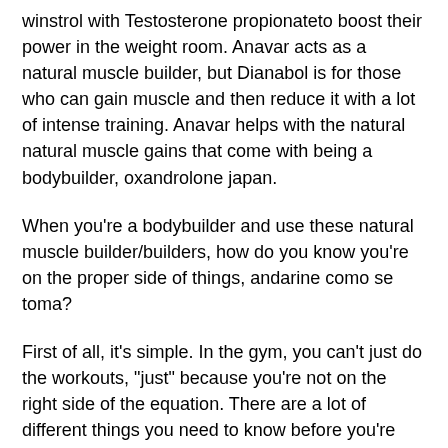winstrol with Testosterone propionateto boost their power in the weight room. Anavar acts as a natural muscle builder, but Dianabol is for those who can gain muscle and then reduce it with a lot of intense training. Anavar helps with the natural natural muscle gains that come with being a bodybuilder, oxandrolone japan.
When you're a bodybuilder and use these natural muscle builder/builders, how do you know you're on the proper side of things, andarine como se toma?
First of all, it's simple. In the gym, you can't just do the workouts, "just" because you're not on the right side of the equation. There are a lot of different things you need to know before you're ready, oxandrolone japan. Anavar won't work for all body builders and many people have very strong growth